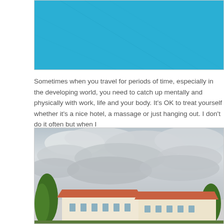[Figure (photo): Partial photo showing a bright turquoise/blue swimming pool surface with faint diagonal lines or ripples visible]
Sometimes when you travel for periods of time, especially in the developing world, you need to catch up mentally and physically with work, life and your body. It's OK to treat yourself whether it's a nice hotel, a massage or just hanging out. I don't do it often but when I
[Figure (photo): Photo of a hotel or resort building with orange/terracotta tiled roofs under a dramatic cloudy grey sky, with palm trees and tropical vegetation in the foreground]